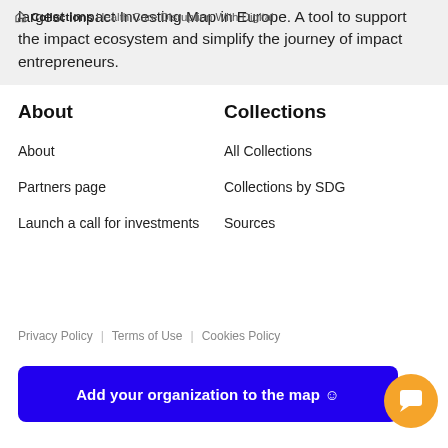largest Impact Investing Map in Europe. A tool to support the impact ecosystem and simplify the journey of impact entrepreneurs.
Collections  Health Care Disruption With Digital
About
Collections
About
All Collections
Partners page
Collections by SDG
Launch a call for investments
Sources
Privacy Policy  |  Terms of Use  |  Cookies Policy
Add your organization to the map 😊